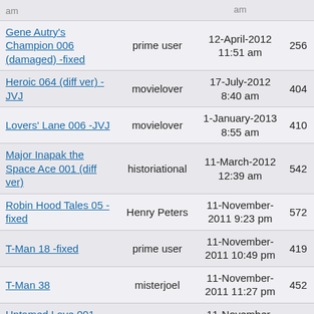| Title | User | Date | Size |
| --- | --- | --- | --- |
| Gene Autry's Champion 006 (damaged) -fixed | prime user | 12-April-2012 11:51 am | 256 |
| Heroic 064 (diff ver) -JVJ | movielover | 17-July-2012 8:40 am | 404 |
| Lovers' Lane 006 -JVJ | movielover | 1-January-2013 8:55 am | 410 |
| Major Inapak the Space Ace 001 (diff ver) | historiational | 11-March-2012 12:39 am | 542 |
| Robin Hood Tales 05 -fixed | Henry Peters | 11-November-2011 9:23 pm | 572 |
| T-Man 18 -fixed | prime user | 11-November-2011 10:49 pm | 419 |
| T-Man 38 | misterjoel | 11-November-2011 11:27 pm | 452 |
| Untamed Love 001 -fixed | prime user | 11-November-2011 11:33 | 689 |